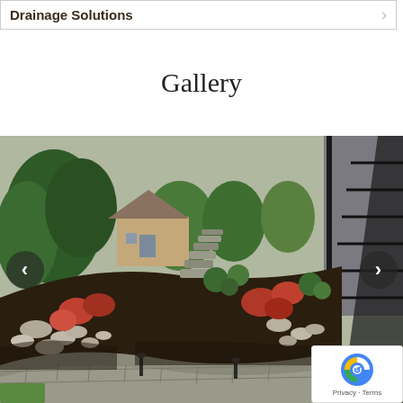Drainage Solutions
Gallery
[Figure (photo): Landscaped yard with stone pathway, stone steps going up a slope, ornamental shrubs with red autumn foliage, river rocks bordering the path, evergreen trees in background, and a house visible. A curved paver walkway is in the foreground. A black metal staircase railing is visible on the right side.]
Privacy · Terms